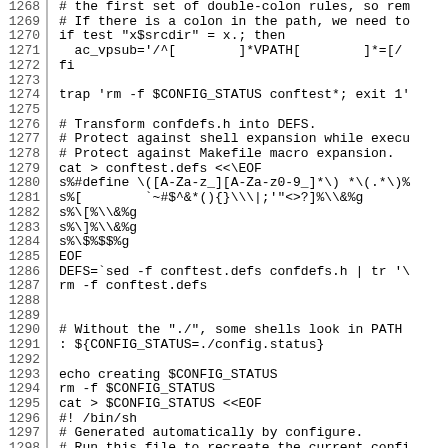Code listing lines 1268-1298, shell script source code
1268: # the first set of double-colon rules, so rem
1269: # If there is a colon in the path, we need to
1270: if test "x$srcdir" = x.; then
1271:   ac_vpsub='/^[        ]*VPATH[        ]*=[/
1272: fi
1273:
1274: trap 'rm -f $CONFIG_STATUS conftest*; exit 1'
1275:
1276: # Transform confdefs.h into DEFS.
1277: # Protect against shell expansion while execu
1278: # Protect against Makefile macro expansion.
1279: cat > conftest.defs <<\EOF
1280: s%#define \([A-Za-z_][A-Za-z0-9_]*\) *\(.*\)%
1281: s%[        `~#$^&*(){}\\|;'"<>?]%\\&%g
1282: s%\[%\\&%g
1283: s%\]%\\&%g
1284: s%\$%$$%g
1285: EOF
1286: DEFS=`sed -f conftest.defs confdefs.h | tr '\
1287: rm -f conftest.defs
1288:
1289:
1290: # Without the "./", some shells look in PATH
1291: : ${CONFIG_STATUS=./config.status}
1292:
1293: echo creating $CONFIG_STATUS
1294: rm -f $CONFIG_STATUS
1295: cat > $CONFIG_STATUS <<EOF
1296: #! /bin/sh
1297: # Generated automatically by configure.
1298: # Run this file to recreate the current confi